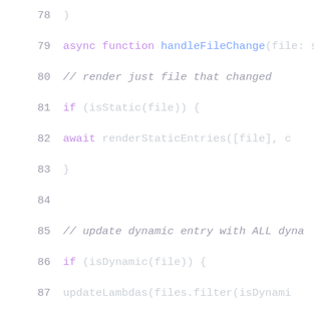[Figure (screenshot): Source code screenshot showing JavaScript/TypeScript async function handleFileChange with lines 79-95 visible. Syntax highlighted code editor view.]